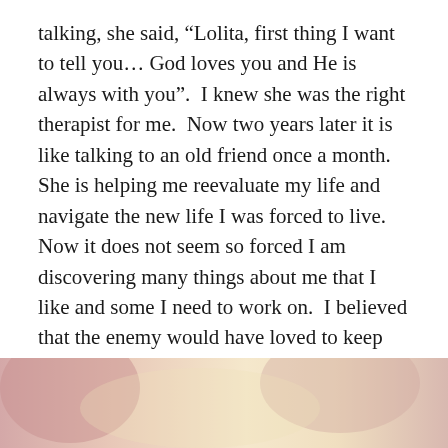talking, she said, “Lolita, first thing I want to tell you… God loves you and He is always with you”.  I knew she was the right therapist for me.  Now two years later it is like talking to an old friend once a month.  She is helping me reevaluate my life and navigate the new life I was forced to live. Now it does not seem so forced I am discovering many things about me that I like and some I need to work on.  I believed that the enemy would have loved to keep me my depressed little ball casted out to the darkness! But I knew that God made me STRONGER than anything that he tried to throw at me!
[Figure (photo): Partial image visible at the bottom of the page showing a soft blurred background with warm pinkish and cream/yellow tones]